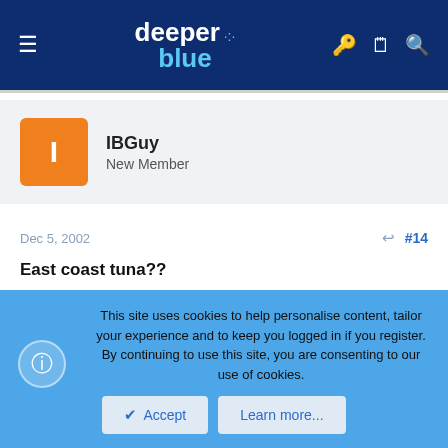deeper blue — site navigation header
IBGuy
New Member
Dec 5, 2002  #14
East coast tuna??
Heebes and Jay,
You guys are in Va. and Carolinas respectively, your posts mention the taking of the occasional tuna. I spoke with a person at NOAA last spring
This site uses cookies to help personalise content, tailor your experience and to keep you logged in if you register.
By continuing to use this site, you are consenting to our use of cookies.